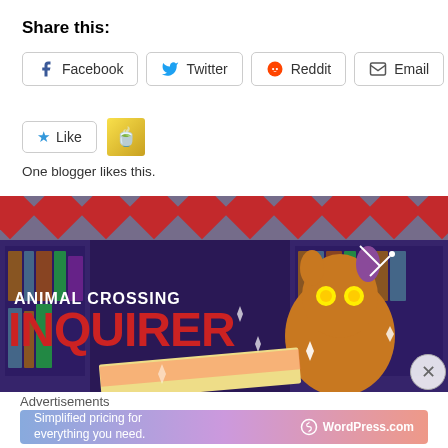Share this:
Facebook
Twitter
Reddit
Email
Like
One blogger likes this.
[Figure (photo): Animal Crossing Inquirer banner image showing a cartoon character with glowing eyes against a purple-toned library background with red and white diamond pattern at top. Text reads 'ANIMAL CROSSING' in white bold and 'INQUIRER' in large red bold letters.]
Advertisements
[Figure (infographic): WordPress.com advertisement banner with gradient background: 'Simplified pricing for everything you need.' with WordPress.com logo]